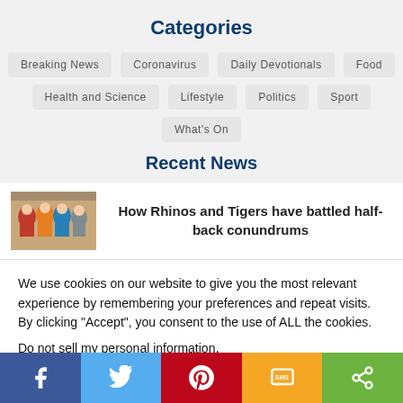Categories
Breaking News
Coronavirus
Daily Devotionals
Food
Health and Science
Lifestyle
Politics
Sport
What's On
Recent News
[Figure (photo): Rugby players in coloured jerseys standing together]
How Rhinos and Tigers have battled half-back conundrums
We use cookies on our website to give you the most relevant experience by remembering your preferences and repeat visits. By clicking “Accept”, you consent to the use of ALL the cookies.
Do not sell my personal information.